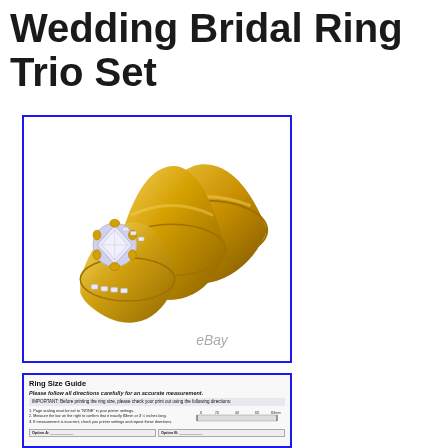Wedding Bridal Ring Trio Set
[Figure (photo): Three gold wedding rings - a diamond solitaire engagement ring with channel-set diamonds on the band, and two plain gold wedding bands, displayed together on a white background. eBay watermark visible at bottom.]
[Figure (screenshot): Ring Size Guide image showing instructions for accurate measurement, with a ruler graphic and print scale verification box. Bottom shows two sizing options/methods.]